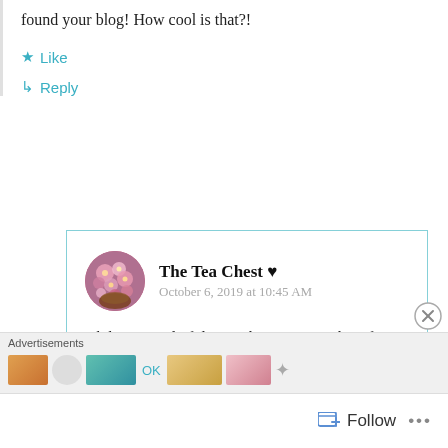found your blog! How cool is that?!
★ Like
↳ Reply
The Tea Chest ♥
October 6, 2019 at 10:45 AM
Oh how wonderful, must be a sign to take a few moments and reminisce ❤🍵
Advertisements
[Figure (screenshot): Advertisement banner with colorful images]
Follow
...